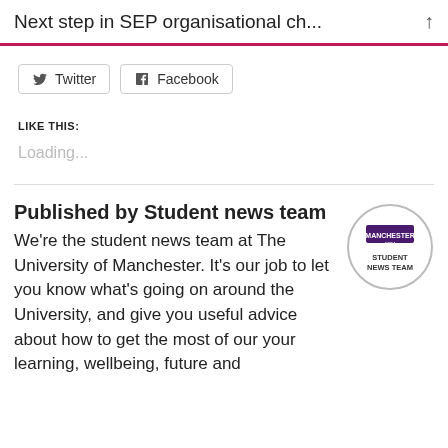Next step in SEP organisational ch...
Twitter   Facebook
LIKE THIS:
Loading...
Published by Student news team
We're the student news team at The University of Manchester. It's our job to let you know what's going on around the University, and give you useful advice about how to get the most of our your learning, wellbeing, future and